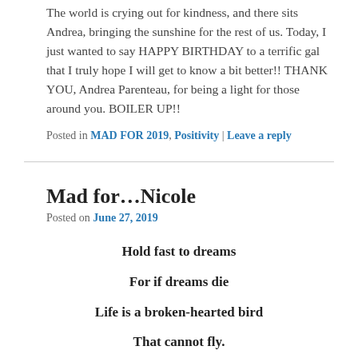The world is crying out for kindness, and there sits Andrea, bringing the sunshine for the rest of us. Today, I just wanted to say HAPPY BIRTHDAY to a terrific gal that I truly hope I will get to know a bit better!! THANK YOU, Andrea Parenteau, for being a light for those around you. BOILER UP!!
Posted in MAD FOR 2019, Positivity | Leave a reply
Mad for…Nicole
Posted on June 27, 2019
Hold fast to dreams
For if dreams die
Life is a broken-hearted bird
That cannot fly.